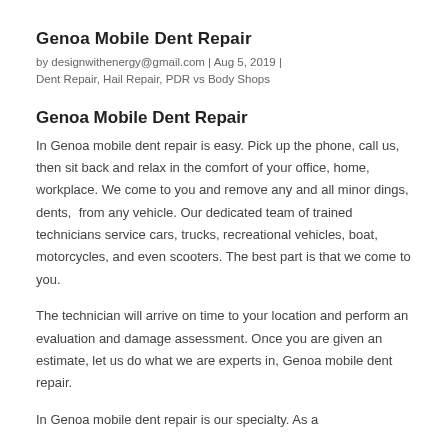Genoa Mobile Dent Repair
by designwithenergy@gmail.com | Aug 5, 2019 | Dent Repair, Hail Repair, PDR vs Body Shops
Genoa Mobile Dent Repair
In Genoa mobile dent repair is easy. Pick up the phone, call us, then sit back and relax in the comfort of your office, home, workplace. We come to you and remove any and all minor dings, dents,  from any vehicle. Our dedicated team of trained technicians service cars, trucks, recreational vehicles, boat, motorcycles, and even scooters. The best part is that we come to you.
The technician will arrive on time to your location and perform an evaluation and damage assessment. Once you are given an estimate, let us do what we are experts in, Genoa mobile dent repair.
In Genoa mobile dent repair is our specialty. As a